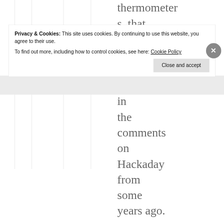thermometers, that reminds me of an exchange in the comments on Hackaday from some years ago.
Privacy & Cookies: This site uses cookies. By continuing to use this website, you agree to their use. To find out more, including how to control cookies, see here: Cookie Policy
Close and accept